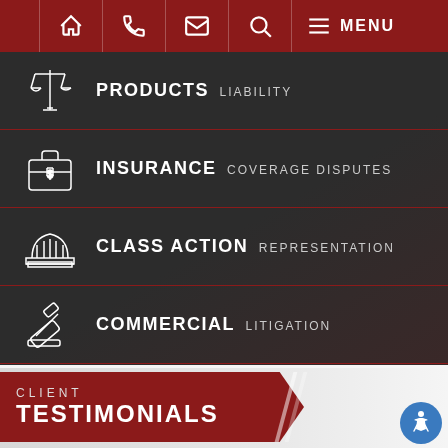Navigation bar with home, phone, email, search, menu icons
PRODUCTS LIABILITY
INSURANCE COVERAGE DISPUTES
CLASS ACTION REPRESENTATION
COMMERCIAL LITIGATION
CLIENT TESTIMONIALS